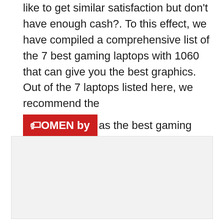like to get similar satisfaction but don't have enough cash?. To this effect, we have compiled a comprehensive list of the 7 best gaming laptops with 1060 that can give you the best graphics. Out of the 7 laptops listed here, we recommend the 🏷OMEN by HP as the best gaming laptop with 1060 to buy.
[Figure (other): Gray placeholder box for an image or advertisement]